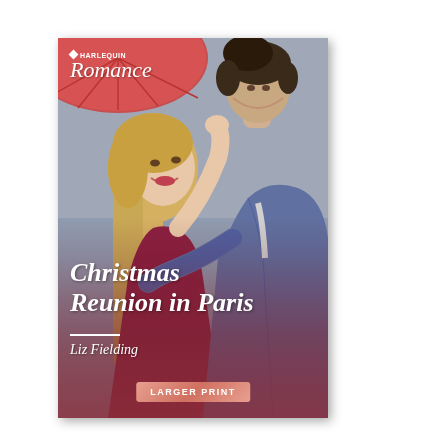[Figure (illustration): Book cover of 'Christmas Reunion in Paris' by Liz Fielding, published by Harlequin Romance. Shows a romantic couple facing each other closely — a blonde woman in a magenta/burgundy dress looking up at a man in a grey suit jacket. A red umbrella is partially visible in the top-left corner. The cover has the Harlequin Romance logo at top-left and a 'Larger Print' badge at the bottom center.]